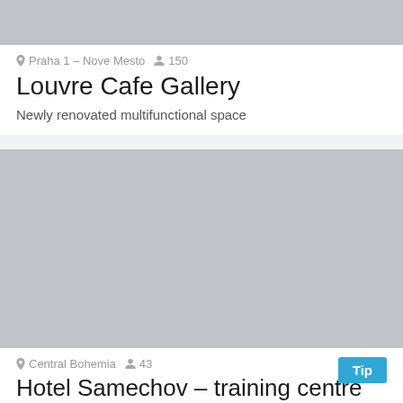[Figure (photo): Gray placeholder image for Louvre Cafe Gallery]
Praha 1 – Nove Mesto  150
Louvre Cafe Gallery
Newly renovated multifunctional space
[Figure (photo): Gray placeholder image for Hotel Samechov]
Central Bohemia  43
Hotel Samechov – training centre
Hotel in picturesque Posázaví